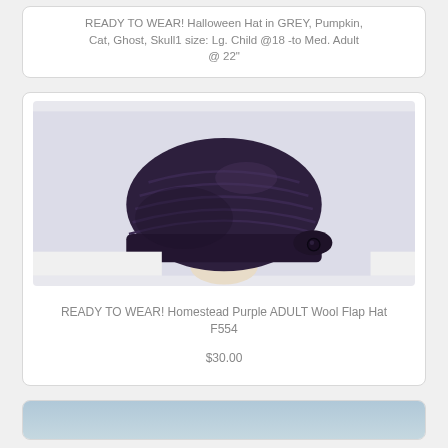READY TO WEAR! Halloween Hat in GREY, Pumpkin, Cat, Ghost, Skull1 size: Lg. Child @18 -to Med. Adult @ 22"
[Figure (photo): Dark purple/navy knitted wool flap hat displayed on a light-colored mannequin head, showing textured ribbed pattern and side flap with button]
READY TO WEAR! Homestead Purple ADULT Wool Flap Hat F554
$30.00
[Figure (photo): Partial image of another hat product, showing top portion cut off at bottom of page]